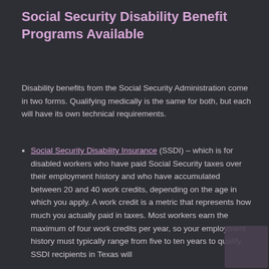Social Security Disability Benefit Programs Available
Disability benefits from the Social Security Administration come in two forms. Qualifying medically is the same for both, but each will have its own technical requirements.
Social Security Disability Insurance (SSDI) – which is for disabled workers who have paid Social Security taxes over their employment history and who have accumulated between 20 and 40 work credits, depending on the age in which you apply. A work credit is a metric that represents how much you actually paid in taxes. Most workers earn the maximum of four work credits per year, so your employment history must typically range from five to ten years to qualify. SSDI recipients in Texas will